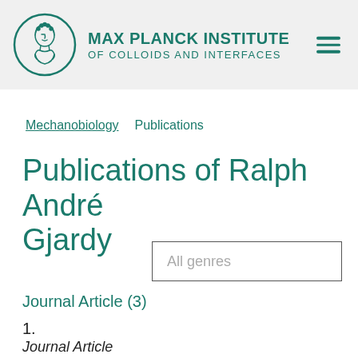MAX PLANCK INSTITUTE OF COLLOIDS AND INTERFACES
Mechanobiology   Publications
Publications of Ralph André Gjardy
All genres
Journal Article (3)
1.
Journal Article